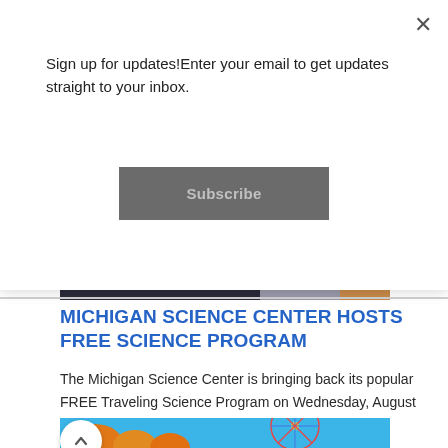Sign up for updates!Enter your email to get updates straight to your inbox.
Subscribe
[Figure (photo): Partial photo of a person at a desk — dark background with orange accent, partially obscured by modal overlay]
MICHIGAN SCIENCE CENTER HOSTS FREE SCIENCE PROGRAM
The Michigan Science Center is bringing back its popular FREE Traveling Science Program on Wednesday, August 24th and the first 50...
[Figure (photo): Photo of carved Halloween pumpkins in foreground with a colorful Ferris wheel (blue and red spokes) against a bright blue sky in the background]